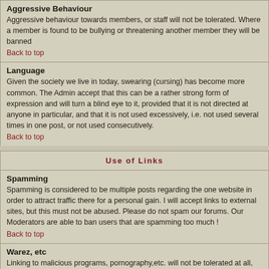Aggressive Behaviour
Aggressive behaviour towards members, or staff will not be tolerated. Where a member is found to be bullying or threatening another member they will be banned
Back to top
Language
Given the society we live in today, swearing (cursing) has become more common. The Admin accept that this can be a rather strong form of expression and will turn a blind eye to it, provided that it is not directed at anyone in particular, and that it is not used excessively, i.e. not used several times in one post, or not used consecutively.
Back to top
Use of Links
Spamming
Spamming is considered to be multiple posts regarding the one website in order to attract traffic there for a personal gain. I will accept links to external sites, but this must not be abused. Please do not spam our forums. Our Moderators are able to ban users that are spamming too much !
Back to top
Warez, etc
Linking to malicious programs, pornography,etc. will not be tolerated at all, post them and be banned!
Back to top
Use of Images